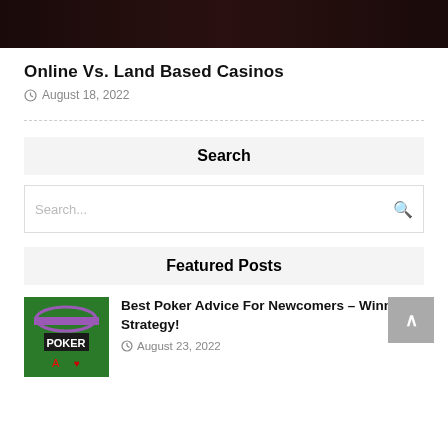[Figure (photo): Dark banner image at top of page]
Online Vs. Land Based Casinos
August 18, 2022
Search
Search...
Featured Posts
[Figure (photo): Poker themed thumbnail image]
Best Poker Advice For Newcomers – Winning Strategy!
August 23, 2022